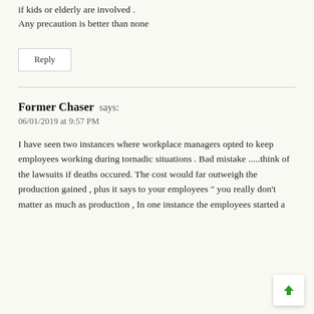if kids or elderly are involved .
Any precaution is better than none
Reply
Former Chaser says:
06/01/2019 at 9:57 PM
I have seen two instances where workplace managers opted to keep employees working during tornadic situations . Bad mistake .....think of the lawsuits if deaths occured. The cost would far outweigh the production gained , plus it says to your employees " you really don't matter as much as production , In one instance the employees started a